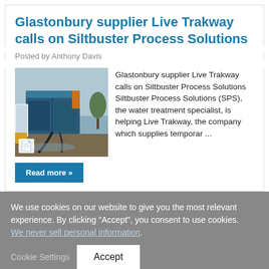Glastonbury supplier Live Trakway calls on Siltbuster Process Solutions
Posted by Anthony Davis
[Figure (photo): Industrial water treatment equipment (blue metal container/tank) outdoors on muddy ground with pipes and hoses, with flooded field in background. Document icon overlay at bottom-left.]
Glastonbury supplier Live Trakway calls on Siltbuster Process Solutions Siltbuster Process Solutions (SPS), the water treatment specialist, is helping Live Trakway, the company which supplies temporar ...
Read more »
We use cookies on our website to give you the most relevant experience. By clicking “Accept”, you consent to use cookies. We never sell personal information.
Cookie Settings
Accept